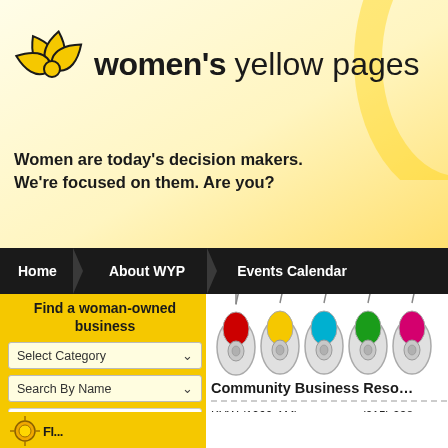[Figure (logo): Women's Yellow Pages logo with yellow flower/pinwheel graphic and text 'women's yellow pages']
Women are today's decision makers. We're focused on them. Are you?
Home | About WYP | Events Calendar
Find a woman-owned business
Select Category
Search By Name
ENHANCED BY Google
SEARCH
[Figure (illustration): Five computer mice in a row with colored scroll buttons: red, yellow, blue/cyan, green, pink/magenta]
Community Business Reso…
KYW (1060-AM).................. (215) 238-
400 Market St., 10th FL, Phila 19106
News
[Figure (logo): Partial logo at bottom left, appears to be a sun/flower emblem with partial text]